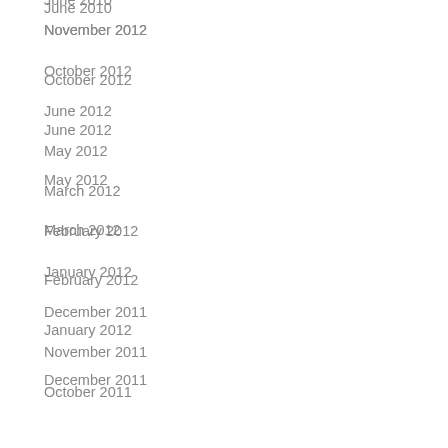June 2010
November 2012
October 2012
June 2012
May 2012
March 2012
February 2012
January 2012
December 2011
November 2011
October 2011
Categories
Energy and Sustainability
Green Pets
Healthy Home